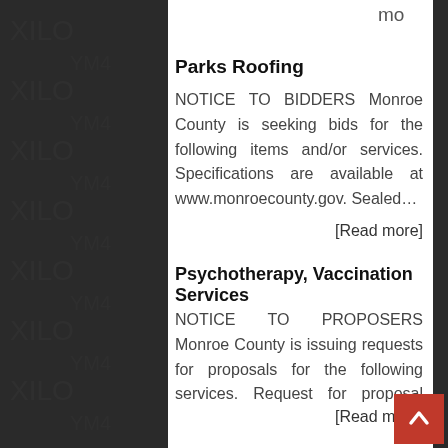mo
Parks Roofing
NOTICE TO BIDDERS Monroe County is seeking bids for the following items and/or services. Specifications are available at www.monroecounty.gov. Sealed…
[Read more]
Psychotherapy, Vaccination Services
NOTICE TO PROPOSERS Monroe County is issuing requests for proposals for the following services. Request for proposal documents are available…
[Read more]